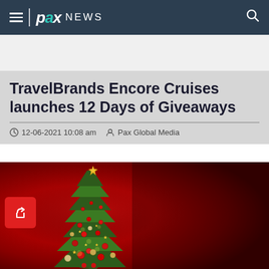pax NEWS
TravelBrands Encore Cruises launches 12 Days of Giveaways
12-06-2021 10:08 am  Pax Global Media
[Figure (photo): Decorated Christmas tree with star topper, red ornaments, and gold stars on a deep red background. A red share button with a forward arrow icon is overlaid on the lower left.]